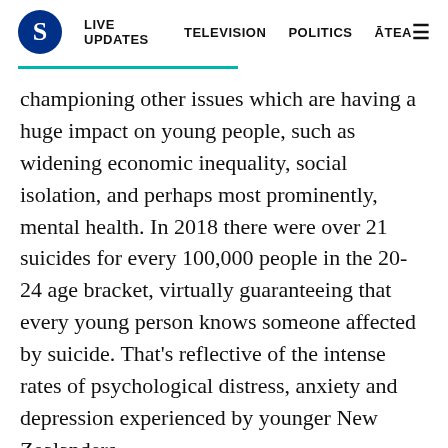S | LIVE UPDATES | TELEVISION | POLITICS | ĀTEA | ≡
championing other issues which are having a huge impact on young people, such as widening economic inequality, social isolation, and perhaps most prominently, mental health. In 2018 there were over 21 suicides for every 100,000 people in the 20-24 age bracket, virtually guaranteeing that every young person knows someone affected by suicide. That's reflective of the intense rates of psychological distress, anxiety and depression experienced by younger New Zealanders.
Having been spurred to action by these generational imperatives, it helps that these young candidates are able to look to examples of political success by other young people. Putting